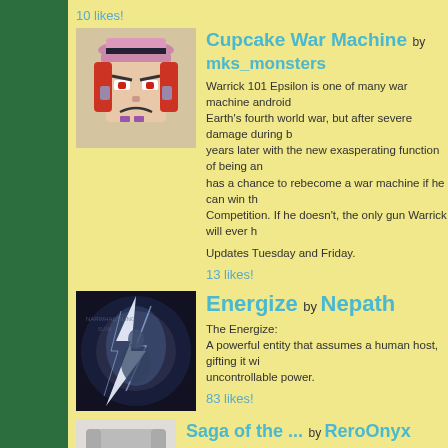10 likes!
[Figure (illustration): Cupcake War Machine comic thumbnail showing an angry android character with red hair and pink hat]
Cupcake War Machine by mks_monsters
Warrick 101 Epsilon is one of many war machine androids built to fight in Earth's fourth world war, but after severe damage during battle, he wakes up years later with the new exasperating function of being an actual cupcake. He has a chance to rebecome a war machine if he can win the Grand Baking Competition. If he doesn't, the only gun Warrick will ever hold is a frosting gun.
Updates Tuesday and Friday.
13 likes!
[Figure (illustration): Energize comic thumbnail showing a lightning-charged figure]
Energize by Nepath
The Energize:
A powerful entity that assumes a human host, gifting it with incredible uncontrollable power.
83 likes!
[Figure (illustration): Saga of the ... comic thumbnail showing a gray-haired character]
Saga of the ... by ReroOnyx
1,000 years ago, two beings known as the "Angels" and the "Demons" entered the world and since then have become an everyday part of life.